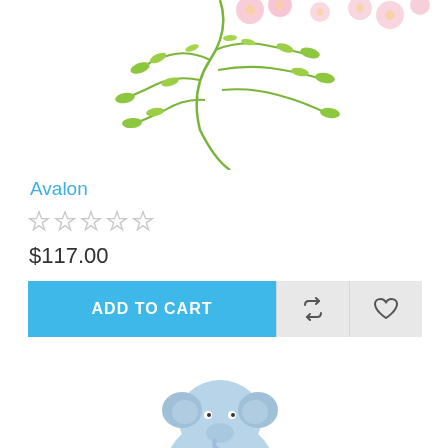[Figure (photo): Top portion of a floral arrangement with green leaves and pink flowers on white background, cropped at top of page]
Avalon
☆☆☆☆☆ (0 stars rating)
$117.00
ADD TO CART
[Figure (photo): Partial view of a small blue stuffed animal (elephant) visible at the bottom of the page]